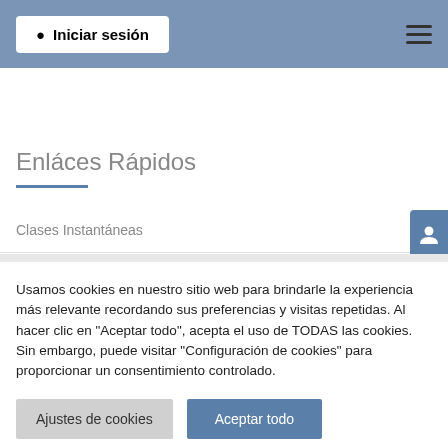Iniciar sesión
Preguntas frecuentes
Enláces Rápidos
Clases Instantáneas
Usamos cookies en nuestro sitio web para brindarle la experiencia más relevante recordando sus preferencias y visitas repetidas. Al hacer clic en "Aceptar todo", acepta el uso de TODAS las cookies. Sin embargo, puede visitar "Configuración de cookies" para proporcionar un consentimiento controlado.
Ajustes de cookies
Aceptar todo